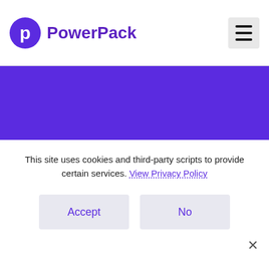PowerPack
Coupon Widget
Display Special offers, discounts, and
This site uses cookies and third-party scripts to provide certain services. View Privacy Policy
Accept
No